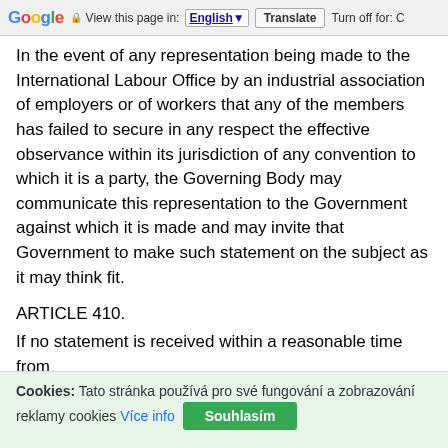Google | View this page in: English [▼] | Translate | Turn off for: C
In the event of any representation being made to the International Labour Office by an industrial association of employers or of workers that any of the members has failed to secure in any respect the effective observance within its jurisdiction of any convention to which it is a party, the Governing Body may communicate this representation to the Government against which it is made and may invite that Government to make such statement on the subject as it may think fit.
ARTICLE 410.
If no statement is received within a reasonable time from
Cookies: Tato stránka používá pro své fungování a zobrazování reklamy cookies Více info Souhlasím